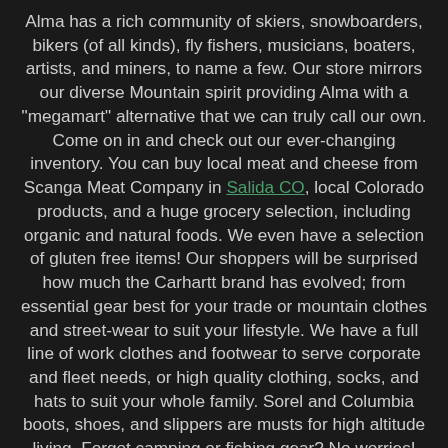Alma has a rich community of skiers, snowboarders, bikers (of all kinds), fly fishers, musicians, boaters, artists, and miners, to name a few. Our store mirrors our diverse Mountain spirit providing Alma with a "megamart" alternative that we can truly call our own. Come on in and check out our ever-changing inventory. You can buy local meat and cheese from Scanga Meat Company in Salida CO, local Colorado products, and a huge grocery selection, including organic and natural foods. We even have a selection of gluten free items! Our shoppers will be surprised how much the Carhartt brand has evolved; from essential gear best for your trade or mountain clothes and street-wear to suit your lifestyle. We have a full line of work clothes and footwear to serve corporate and fleet needs, or high quality clothing, socks, and hats to suit your whole family. Sorel and Columbia boots, shoes, and slippers are musts for high altitude living. Forgot camping or fishing gear? No worries! We are